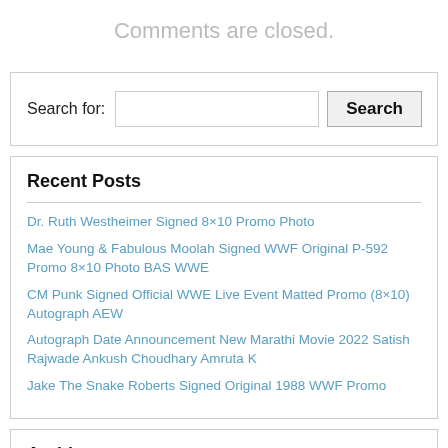Comments are closed.
Search for:
Recent Posts
Dr. Ruth Westheimer Signed 8×10 Promo Photo
Mae Young & Fabulous Moolah Signed WWF Original P-592 Promo 8×10 Photo BAS WWE
CM Punk Signed Official WWE Live Event Matted Promo (8×10) Autograph AEW
Autograph Date Announcement New Marathi Movie 2022 Satish Rajwade Ankush Choudhary Amruta K
Jake The Snake Roberts Signed Original 1988 WWF Promo
Archives